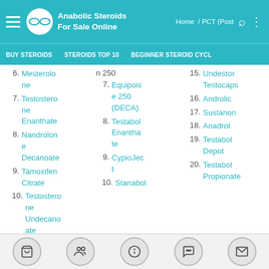Anabolic Steroids For Sale Online | Home / PCT (Post | BUY STEROIDS | STEROIDS TOP 10 | BEGINNER STEROID CYCL
6. Mesterolone
7. Testosterone Enanthate
8. Nandrolone Decanoate
9. Tamoxifen Citrate
10. Testosterone Undecanoate
6. Sustanon 250
7. Equipoise 250 (DECA)
8. Testabol Enanthate
9. CypioJect
10. Stanabol
15. Undestor Testocaps
16. Androlic
17. Sustanon
18. Anadrol
19. Testabol Depot
20. Testabol Propionate
cart | group | info | chat | mail